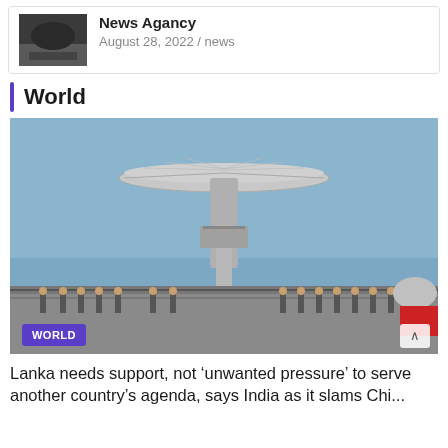News Agancy
August 28, 2022 / news
World
[Figure (photo): Large satellite dish / radar dish on a ship deck with crew members standing along the railing, blue sky background. WORLD label badge overlaid at bottom left.]
Lanka needs support, not ‘unwanted pressure’ to serve another country’s agenda, says India as it slams Chi...